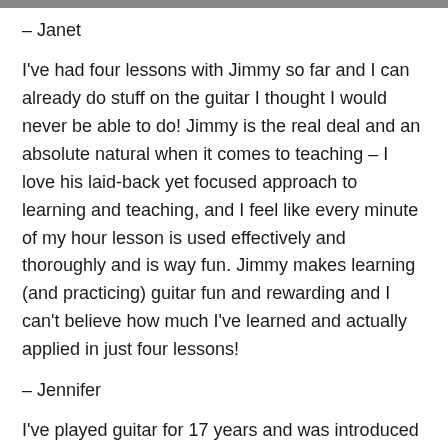– Janet
I've had four lessons with Jimmy so far and I can already do stuff on the guitar I thought I would never be able to do! Jimmy is the real deal and an absolute natural when it comes to teaching – I love his laid-back yet focused approach to learning and teaching, and I feel like every minute of my hour lesson is used effectively and thoroughly and is way fun. Jimmy makes learning (and practicing) guitar fun and rewarding and I can't believe how much I've learned and actually applied in just four lessons!
– Jennifer
I've played guitar for 17 years and was introduced to James after a long period of stagnation on the instrument. I had established a firm identity as a player after a period of recording instrumental rock records and